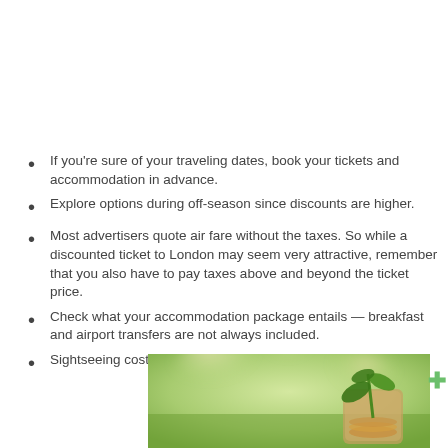If you're sure of your traveling dates, book your tickets and accommodation in advance.
Explore options during off-season since discounts are higher.
Most advertisers quote air fare without the taxes. So while a discounted ticket to London may seem very attractive, remember that you also have to pay taxes above and beyond the ticket price.
Check what your accommodation package entails — breakfast and airport transfers are not always included.
Sightseeing costs more than what people expect.
[Figure (photo): A glass jar filled with coins with a green plant growing out of it, set against a blurred green bokeh background — symbolising savings and financial growth.]